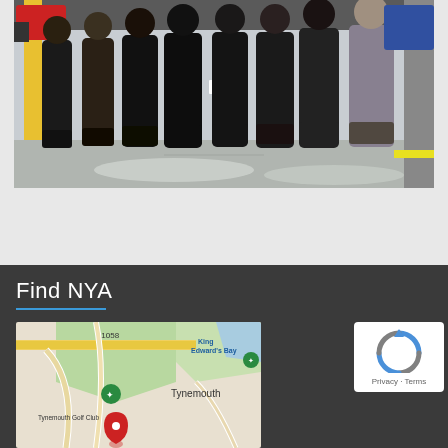[Figure (photo): Group photo of approximately 8 people standing in a row outdoors in a parking area or industrial setting, wearing work clothes and boots. Taken in daylight. Some vehicles and yellow structures visible in background.]
Find NYA
[Figure (map): Google Maps screenshot showing Tynemouth area including King Edward's Bay, Tynemouth Golf Club, and road A1058. Map markers visible including a red pin and green activity icons.]
[Figure (other): Google reCAPTCHA widget showing the reCAPTCHA logo (circular arrows in blue/grey) with Privacy and Terms text below.]